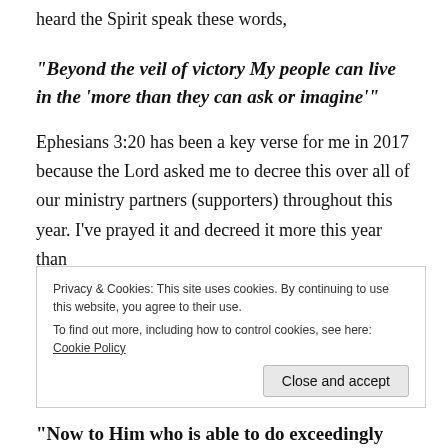heard the Spirit speak these words,
“Beyond the veil of victory My people can live in the ‘more than they can ask or imagine’”
Ephesians 3:20 has been a key verse for me in 2017 because the Lord asked me to decree this over all of our ministry partners (supporters) throughout this year. I’ve prayed it and decreed it more this year than
Privacy & Cookies: This site uses cookies. By continuing to use this website, you agree to their use.
To find out more, including how to control cookies, see here: Cookie Policy
“Now to Him who is able to do exceedingly